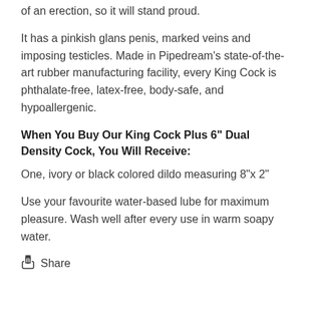of an erection, so it will stand proud.
It has a pinkish glans penis, marked veins and imposing testicles. Made in Pipedream’s state-of-the-art rubber manufacturing facility, every King Cock is phthalate-free, latex-free, body-safe, and hypoallergenic.
When You Buy Our King Cock Plus 6" Dual Density Cock, You Will Receive:
One, ivory or black colored dildo measuring 8”x 2”
Use your favourite water-based lube for maximum pleasure. Wash well after every use in warm soapy water.
Share